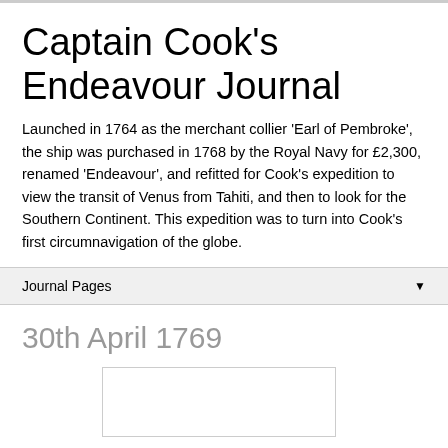Captain Cook's Endeavour Journal
Launched in 1764 as the merchant collier 'Earl of Pembroke', the ship was purchased in 1768 by the Royal Navy for £2,300, renamed 'Endeavour', and refitted for Cook's expedition to view the transit of Venus from Tahiti, and then to look for the Southern Continent. This expedition was to turn into Cook's first circumnavigation of the globe.
Journal Pages
30th April 1769
[Figure (other): Blank or partially visible image placeholder at bottom of page]